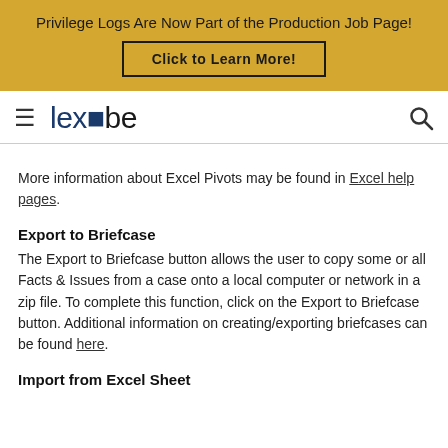Privilege Logs Are Now Part of the Production Job Page!
Click to Learn More!
[Figure (logo): Lexbe logo with hamburger menu icon on left and search icon on right]
More information about Excel Pivots may be found in Excel help pages.
Export to Briefcase
The Export to Briefcase button allows the user to copy some or all Facts & Issues from a case onto a local computer or network in a zip file. To complete this function, click on the Export to Briefcase button. Additional information on creating/exporting briefcases can be found here.
Import from Excel Sheet